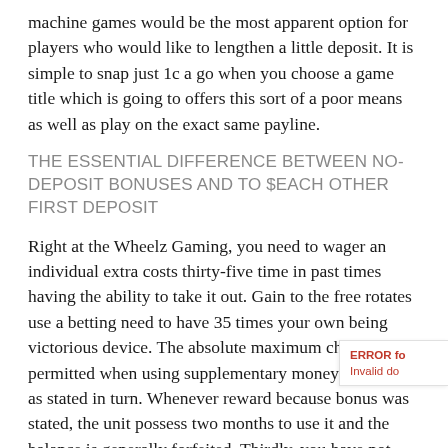machine games would be the most apparent option for players who would like to lengthen a little deposit. It is simple to snap just 1c a go when you choose a game title which is going to offers this sort of a poor means as well as play on the exact same payline.
THE ESSENTIAL DIFFERENCE BETWEEN NO-DEPOSIT BONUSES AND TO $EACH OTHER FIRST DEPOSIT
Right at the Wheelz Gaming, you need to wager an individual extra costs thirty-five time in past times having the ability to take it out. Gain to the free rotates use a betting need to have 35 times your own being victorious device. The absolute maximum chance permitted when using supplementary money is $seven as stated in turn. Whenever reward because bonus was stated, the unit possess two months to use it and the balance is generally forfeited. Thirdly, you have not witnessed a less and easier methods to transfer and other receive money at this point, specifically internet gambling casino with PayPal. Advantage and also centricity have reached the central of the companies's faith.